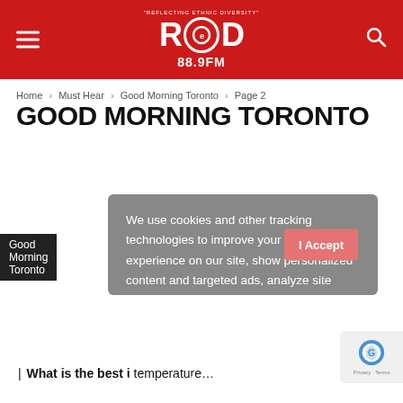RED 88.9FM — REFLECTING ETHNIC DIVERSITY
Home › Must Hear › Good Morning Toronto › Page 2
GOOD MORNING TORONTO
We use cookies and other tracking technologies to improve your browsing experience on our site, show personalized content and targeted ads, analyze site traffic, and understand where our audience is coming from. By choosing I Accept, you consent to our use of cookies and other tracking technologies. To find out more or to opt-out, please read our Privacy Policy
Good Morning Toronto
| What is the best i temperature...